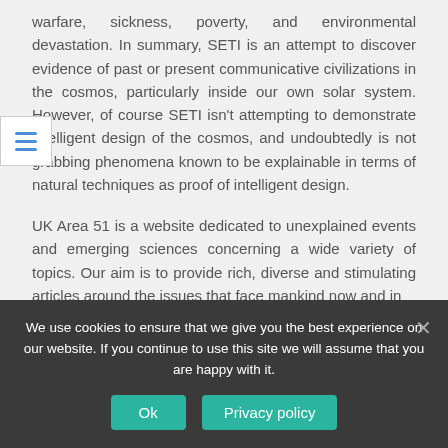warfare, sickness, poverty, and environmental devastation. In summary, SETI is an attempt to discover evidence of past or present communicative civilizations in the cosmos, particularly inside our own solar system. However, of course SETI isn't attempting to demonstrate intelligent design of the cosmos, and undoubtedly is not grabbing phenomena known to be explainable in terms of natural techniques as proof of intelligent design.
UK Area 51 is a website dedicated to unexplained events and emerging sciences concerning a wide variety of topics. Our aim is to provide rich, diverse and stimulating articles around the issues that face mankind now and in
We use cookies to ensure that we give you the best experience on our website. If you continue to use this site we will assume that you are happy with it.